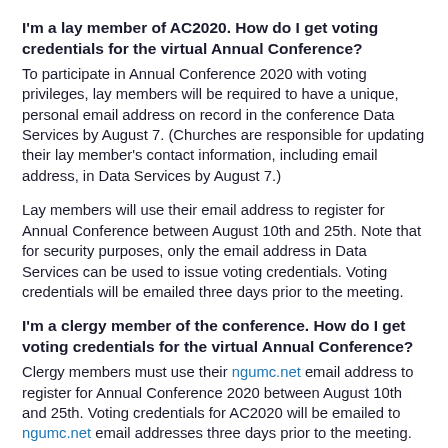I'm a lay member of AC2020. How do I get voting credentials for the virtual Annual Conference?
To participate in Annual Conference 2020 with voting privileges, lay members will be required to have a unique, personal email address on record in the conference Data Services by August 7. (Churches are responsible for updating their lay member's contact information, including email address, in Data Services by August 7.)
Lay members will use their email address to register for Annual Conference between August 10th and 25th. Note that for security purposes, only the email address in Data Services can be used to issue voting credentials. Voting credentials will be emailed three days prior to the meeting.
I'm a clergy member of the conference. How do I get voting credentials for the virtual Annual Conference?
Clergy members must use their ngumc.net email address to register for Annual Conference 2020 between August 10th and 25th. Voting credentials for AC2020 will be emailed to ngumc.net email addresses three days prior to the meeting.